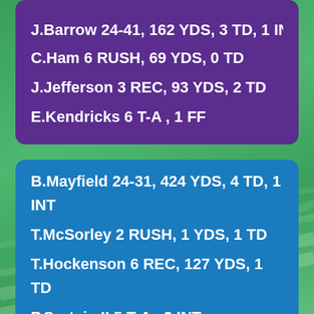[Figure (illustration): Football field background with green turf and yard line markings]
J.Barrow 24-41, 162 YDS, 3 TD, 1 INT (partially clipped at top)
C.Ham 6 RUSH, 69 YDS, 0 TD
J.Jefferson 3 REC, 93 YDS, 2 TD
E.Kendricks 6 T-A , 1 FF
B.Mayfield 24-31, 424 YDS, 4 TD, 1 INT
T.McSorley 2 RUSH, 1 YDS, 1 TD
T.Hockenson 6 REC, 127 YDS, 1 TD
P.Surtain II 5 T-A , 2 INT